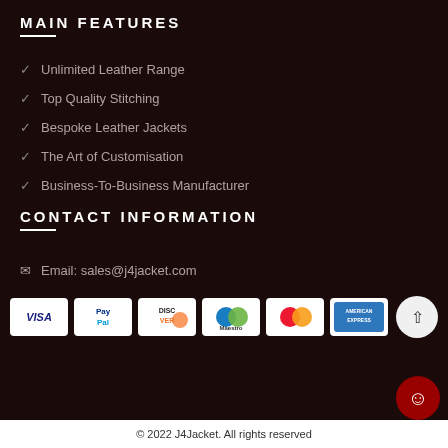MAIN FEATURES
Unlimited Leather Range
Top Quality Stitching
Bespoke Leather Jackets
The Art of Customisation
Business-To-Business Manufacturer
CONTACT INFORMATION
Email: sales@j4jacket.com
[Figure (other): Payment method logos: VISA, PayPal, DISCOVER, Maestro, MasterCard, American Express, and a scroll-to-top button]
© 2022 J4Jacket. All rights reserved